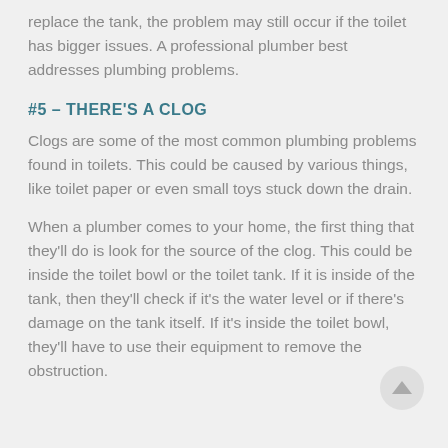replace the tank, the problem may still occur if the toilet has bigger issues. A professional plumber best addresses plumbing problems.
#5 – THERE'S A CLOG
Clogs are some of the most common plumbing problems found in toilets. This could be caused by various things, like toilet paper or even small toys stuck down the drain.
When a plumber comes to your home, the first thing that they'll do is look for the source of the clog. This could be inside the toilet bowl or the toilet tank. If it is inside of the tank, then they'll check if it's the water level or if there's damage on the tank itself. If it's inside the toilet bowl, they'll have to use their equipment to remove the obstruction.